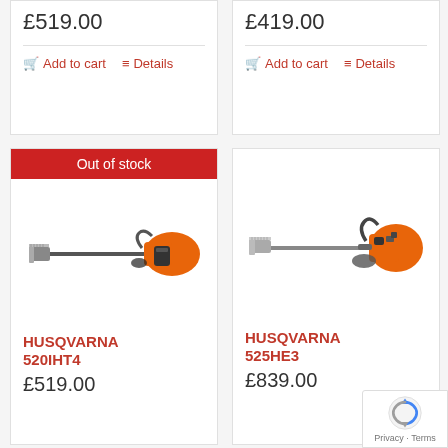£519.00
Add to cart | Details
£419.00
Add to cart | Details
Out of stock
[Figure (photo): Husqvarna 520iHT4 battery-powered long-reach hedge trimmer with orange and black color scheme]
HUSQVARNA 520iHT4
£519.00
[Figure (photo): Husqvarna 525HE3 petrol-powered long-reach hedge trimmer with orange body]
HUSQVARNA 525HE3
£839.00
[Figure (logo): Google reCAPTCHA badge with spinning arrow icon and Privacy and Terms links]